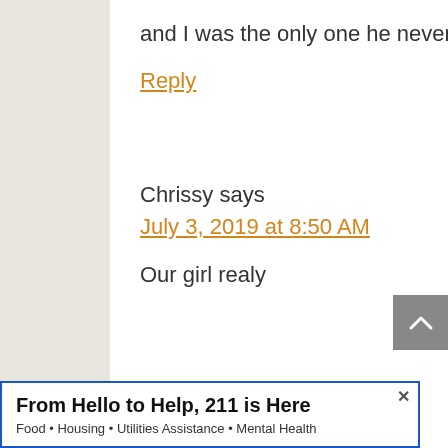and I was the only one he never bit. I really loved that little guy.
Reply
Chrissy says
July 3, 2019 at 8:50 AM
Our girl realy
From Hello to Help, 211 is Here
Food • Housing • Utilities Assistance • Mental Health